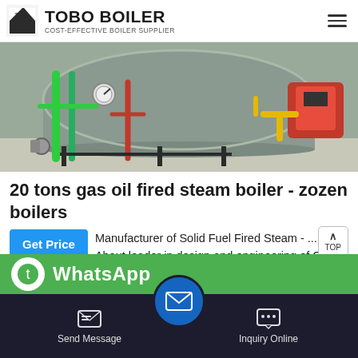TOBO BOILER - COST-EFFECTIVE BOILER SUPPLIER
[Figure (photo): Industrial boiler installation photo showing a large cylindrical steam boiler with green and red pipes, yellow gas lines, pressure gauges, and support frame on a concrete floor.]
20 tons gas oil fired steam boiler - zozen boilers
Manufacturer of Solid Fuel Fired Steam - ... About leader in design and engineering of Oil & Gas Fired Steam Boiler, Thermo Steam generator, with over
Send Message | Inquiry Online